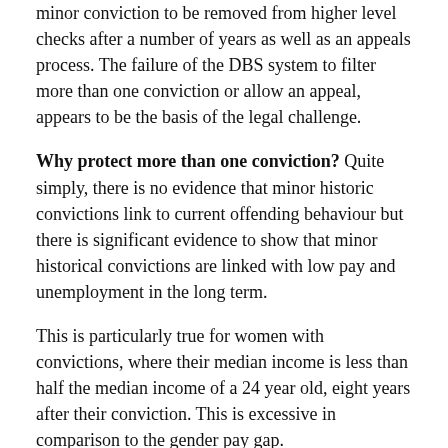minor conviction to be removed from higher level checks after a number of years as well as an appeals process. The failure of the DBS system to filter more than one conviction or allow an appeal, appears to be the basis of the legal challenge.
Why protect more than one conviction? Quite simply, there is no evidence that minor historic convictions link to current offending behaviour but there is significant evidence to show that minor historical convictions are linked with low pay and unemployment in the long term.
This is particularly true for women with convictions, where their median income is less than half the median income of a 24 year old, eight years after their conviction. This is excessive in comparison to the gender pay gap.
When convictions combine with protected characteristics then recruiters and selectors often have to overcome their